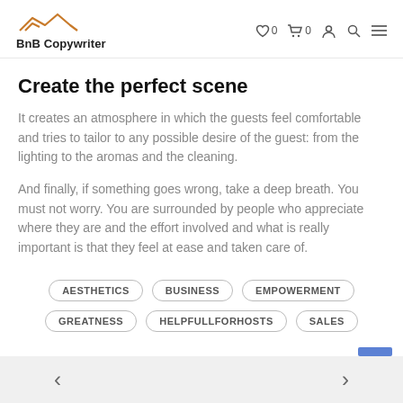BnB Copywriter
Create the perfect scene
It creates an atmosphere in which the guests feel comfortable and tries to tailor to any possible desire of the guest: from the lighting to the aromas and the cleaning.
And finally, if something goes wrong, take a deep breath. You must not worry. You are surrounded by people who appreciate where they are and the effort involved and what is really important is that they feel at ease and taken care of.
AESTHETICS
BUSINESS
EMPOWERMENT
GREATNESS
HELPFULLFORHOSTS
SALES